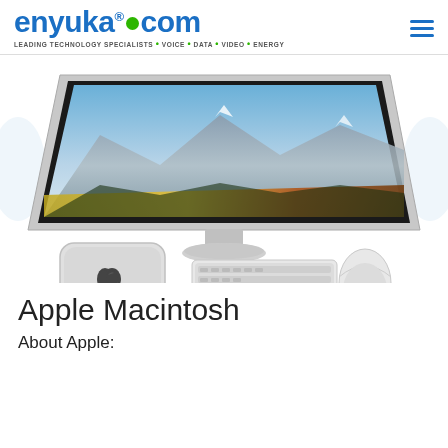[Figure (logo): enyuka.com logo with tagline: LEADING TECHNOLOGY SPECIALISTS • VOICE • DATA • VIDEO • ENERGY]
[Figure (photo): Apple Mac Mini setup with large Apple Thunderbolt Display monitor showing macOS High Sierra mountain wallpaper, Mac Mini unit with Apple logo, Magic Keyboard, and Magic Mouse on white background]
Apple Macintosh
About Apple: